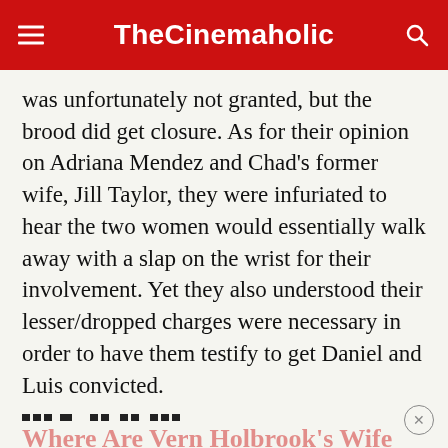TheCinemaholic
was unfortunately not granted, but the brood did get closure. As for their opinion on Adriana Mendez and Chad’s former wife, Jill Taylor, they were infuriated to hear the two women would essentially walk away with a slap on the wrist for their involvement. Yet they also understood their lesser/dropped charges were necessary in order to have them testify to get Daniel and Luis convicted.
Where Are Vern Holbrook’s Wife and Children Now?
In early 2015, following the murder trials, the